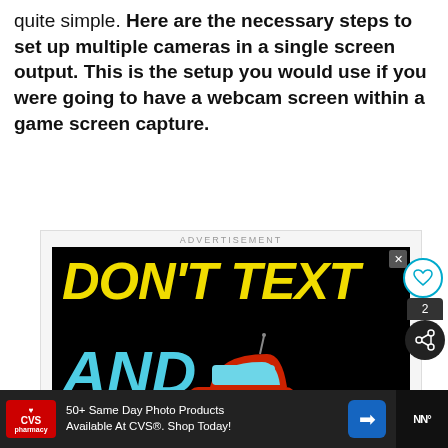quite simple. Here are the necessary steps to set up multiple cameras in a single screen output. This is the setup you would use if you were going to have a webcam screen within a game screen capture.
[Figure (screenshot): Advertisement banner showing 'DON'T TEXT AND' with a car emoji on a black background, with a CVS pharmacy ad at the bottom and social sharing buttons on the right side.]